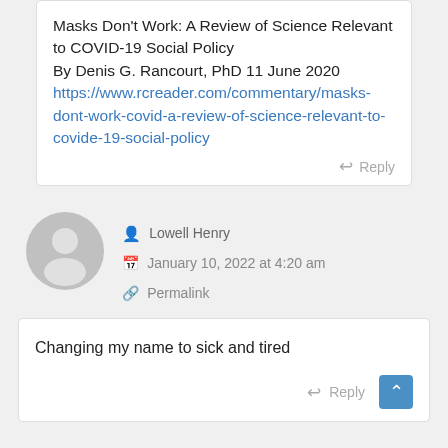Masks Don't Work: A Review of Science Relevant to COVID-19 Social Policy
By Denis G. Rancourt, PhD 11 June 2020
https://www.rcreader.com/commentary/masks-dont-work-covid-a-review-of-science-relevant-to-covide-19-social-policy
Reply
[Figure (illustration): Generic gray user avatar circle]
Lowell Henry
January 10, 2022 at 4:20 am
Permalink
Changing my name to sick and tired
Reply